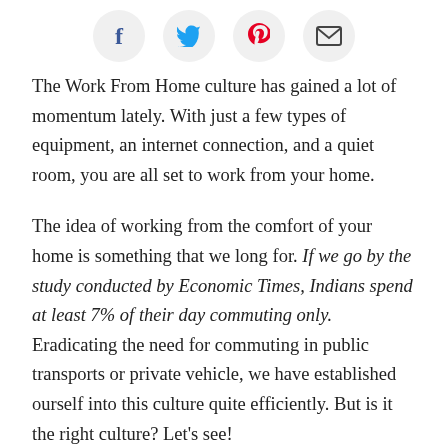[Figure (other): Social sharing icons: Facebook (f), Twitter (bird), Pinterest (P), Email (envelope) — circular light grey buttons in a horizontal row]
The Work From Home culture has gained a lot of momentum lately. With just a few types of equipment, an internet connection, and a quiet room, you are all set to work from your home.
The idea of working from the comfort of your home is something that we long for. If we go by the study conducted by Economic Times, Indians spend at least 7% of their day commuting only. Eradicating the need for commuting in public transports or private vehicle, we have established ourself into this culture quite efficiently. But is it the right culture? Let’s see!